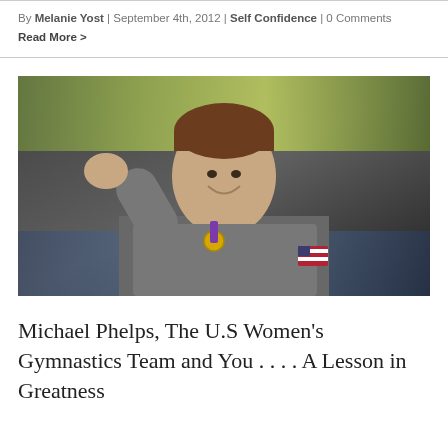By Melanie Yost | September 4th, 2012 | Self Confidence | 0 Comments
Read More >
[Figure (photo): Michael Phelps in a gray USA Olympic hoodie with a gold medal around his neck, fist raised, smiling, with a crowd in the background]
Michael Phelps, The U.S Women's Gymnastics Team and You . . . . A Lesson in Greatness